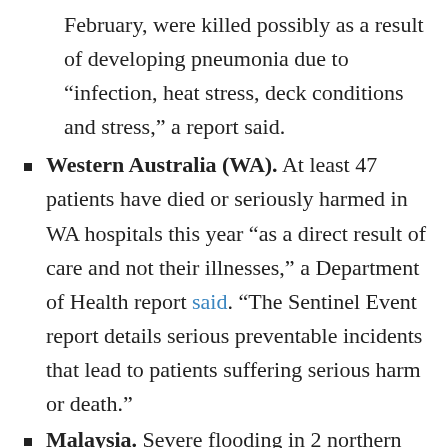February, were killed possibly as a result of developing pneumonia due to “infection, heat stress, deck conditions and stress,” a report said.
Western Australia (WA). At least 47 patients have died or seriously harmed in WA hospitals this year “as a direct result of care and not their illnesses,” a Department of Health report said. “The Sentinel Event report details serious preventable incidents that lead to patients suffering serious harm or death.”
Malaysia. Severe flooding in 2 northern states of Perlis and Kedah in Malaysia has displaced tens of thousands of people, reports say.
Hat Yai, Thailand. Hat Yai, the commercial capital of southern Thailand. has been hit by deadly flooding, a report said. At least 38 people have